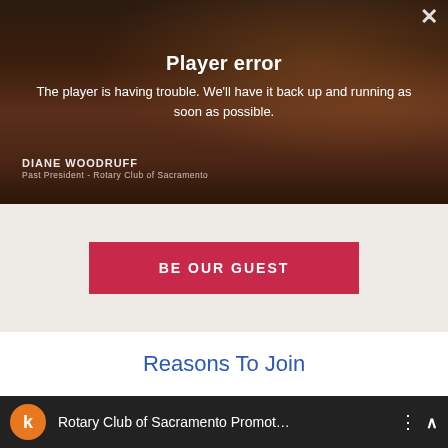[Figure (screenshot): Video player showing a woman in a red jacket with a dark background, displaying a player error overlay. Text overlay shows 'DIANE WOODRUFF, Past President - Rotary Club of Sacramento'. Close button (X) in top right corner.]
Player error
The player is having trouble. We'll have it back up and running as soon as possible.
BE OUR GUEST
Reasons To Join
[Figure (screenshot): YouTube-style video player bar showing orange avatar circle with letter 'k', video title 'Rotary Club of Sacramento Promot...', three-dot menu, and up chevron button.]